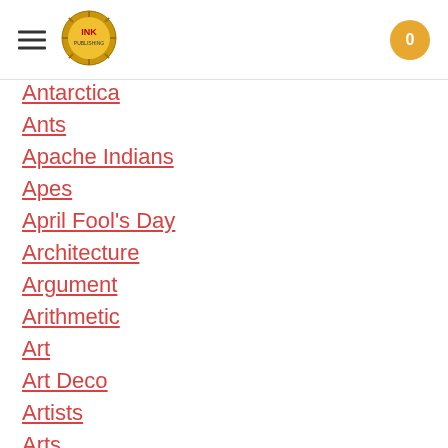INK logo navigation header with hamburger menu and cart button showing 0
Antarctica
Ants
Apache Indians
Apes
April Fool's Day
Architecture
Argument
Arithmetic
Art
Art Deco
Artists
Arts
Asia
Astronauts
Astronomy